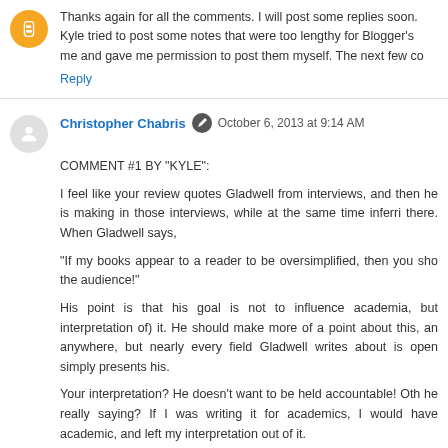Thanks again for all the comments. I will post some replies soon. Kyle tried to post some notes that were too lengthy for Blogger's me and gave me permission to post them myself. The next few co
Reply
Christopher Chabris  October 6, 2013 at 9:14 AM
COMMENT #1 BY "KYLE":
I feel like your review quotes Gladwell from interviews, and then he is making in those interviews, while at the same time inferri there. When Gladwell says,
"If my books appear to a reader to be oversimplified, then you sho the audience!"
His point is that his goal is not to influence academia, but interpretation of) it. He should make more of a point about this, an anywhere, but nearly every field Gladwell writes about is open simply presents his.
Your interpretation? He doesn't want to be held accountable! Oth he really saying? If I was writing it for academics, I would have academic, and left my interpretation out of it.